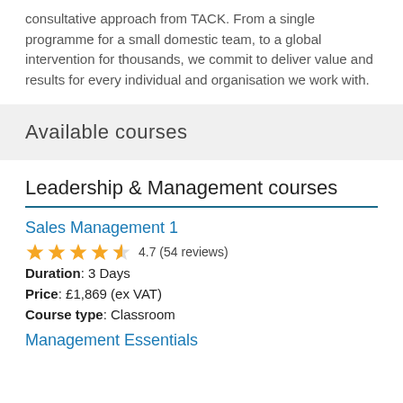consultative approach from TACK. From a single programme for a small domestic team, to a global intervention for thousands, we commit to deliver value and results for every individual and organisation we work with.
Available courses
Leadership & Management courses
Sales Management 1
4.7 (54 reviews)
Duration: 3 Days
Price: £1,869 (ex VAT)
Course type: Classroom
Management Essentials